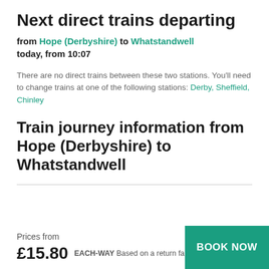Next direct trains departing
from Hope (Derbyshire) to Whatstandwell today, from 10:07
There are no direct trains between these two stations. You'll need to change trains at one of the following stations: Derby, Sheffield, Chinley
Train journey information from Hope (Derbyshire) to Whatstandwell
Prices from
£15.80 EACH-WAY Based on a return fare
BOOK NOW